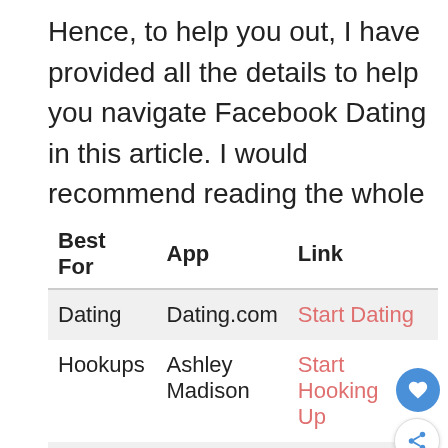Hence, to help you out, I have provided all the details to help you navigate Facebook Dating in this article. I would recommend reading the whole thing thoroughly.
| Best For | App | Link |
| --- | --- | --- |
| Dating | Dating.com | Start Dating |
| Hookups | Ashley Madison | Start Hooking Up |
| Christian Dating | Christian Mingle | Begin Christian Dating |